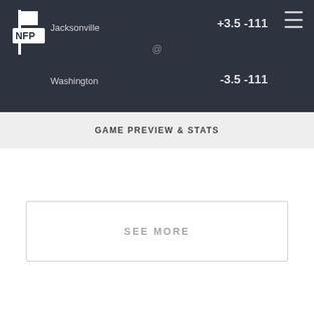Jacksonville @ Washington  +3.5 -111  -3.5 -111
GAME PREVIEW & STATS
SEE MORE
Brad Gagnon
Brenden Deeg
Trend Dummy
About
Contact
Problem Gambling